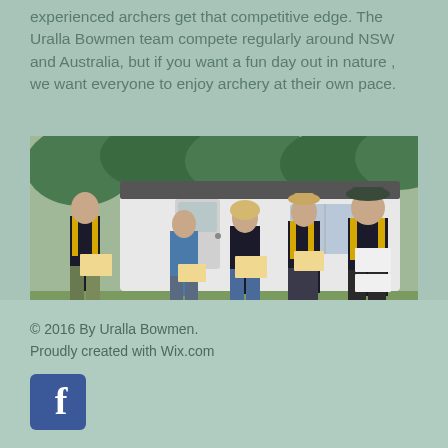experienced archers get that competitive edge. The Uralla Bowmen team compete regularly around NSW and Australia, but if you want a fun day out in nature , we want everyone to enjoy archery at their own pace.
[Figure (photo): Group photo of five people standing in front of a white caravan/trailer in an outdoor setting with trees in background. They are holding certificates/awards. Some wear black and gold club uniforms.]
© 2016 By Uralla Bowmen. Proudly created with Wix.com
[Figure (logo): Facebook social media icon — white letter f on blue square with rounded corners]